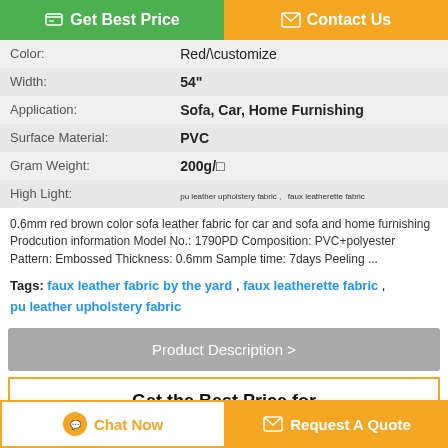[Figure (other): Two action buttons at top: green 'Get Best Price' and orange 'Contact Us']
| Color: | Red/\customize |
| Width: | 54" |
| Application: | Sofa, Car, Home Furnishing |
| Surface Material: | PVC |
| Gram Weight: | 200g/□ |
| High Light: | pu leather upholstery fabric , faux leatherette fabric |
0.6mm red brown color sofa leather fabric for car and sofa and home furnishing Prodcution information Model No.: 1790PD Composition: PVC+polyester Pattern: Embossed Thickness: 0.6mm Sample time: 7days Peeling ...
Tags: faux leather fabric by the yard , faux leatherette fabric , pu leather upholstery fabric
[Figure (other): Gray 'Product Description >' button]
Get the Best Price for
[Figure (other): Bottom buttons: 'Chat Now' and 'Request A Quote']